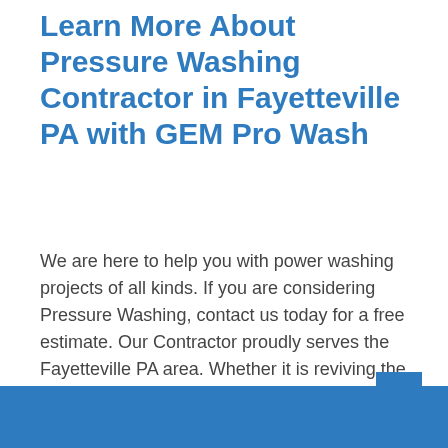Learn More About Pressure Washing Contractor in Fayetteville PA with GEM Pro Wash
We are here to help you with power washing projects of all kinds. If you are considering Pressure Washing, contact us today for a free estimate. Our Contractor proudly serves the Fayetteville PA area. Whether it is reviving the appearance of a dirty deck or boosting curb appeal of your home, our professionals can help! Our Contractor provides more than just Pressure Washing — find out your options today! Email us for more information on any of our Professional Services.